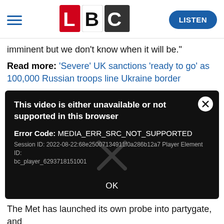LBC — LISTEN
imminent but we don't know when it will be."
Read more: 'Severe' UK sanctions 'ready to go' as 100,000 Russian troops line Ukraine border
[Figure (screenshot): Video player error dialog on dark background. Title: 'This video is either unavailable or not supported in this browser'. Error Code: MEDIA_ERR_SRC_NOT_SUPPORTED. Session ID: 2022-08-22:68e25007134911f0a286b12a7 Player Element ID: bc_player_6293718151001. A large greyed-out X watermark in center. OK button at bottom. Close (×) button top right.]
The Met has launched its own probe into partygate, and